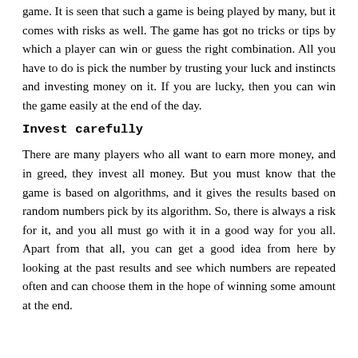game. It is seen that such a game is being played by many, but it comes with risks as well. The game has got no tricks or tips by which a player can win or guess the right combination. All you have to do is pick the number by trusting your luck and instincts and investing money on it. If you are lucky, then you can win the game easily at the end of the day.
Invest carefully
There are many players who all want to earn more money, and in greed, they invest all money. But you must know that the game is based on algorithms, and it gives the results based on random numbers pick by its algorithm. So, there is always a risk for it, and you all must go with it in a good way for you all. Apart from that all, you can get a good idea from here by looking at the past results and see which numbers are repeated often and can choose them in the hope of winning some amount at the end.